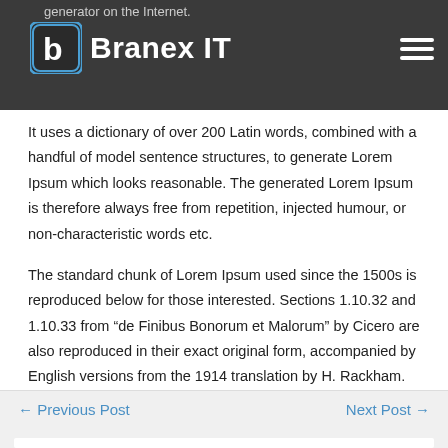generator on the Internet.
[Figure (logo): Branex IT logo with stylized 'b' icon in blue and white on dark background]
It uses a dictionary of over 200 Latin words, combined with a handful of model sentence structures, to generate Lorem Ipsum which looks reasonable. The generated Lorem Ipsum is therefore always free from repetition, injected humour, or non-characteristic words etc.
The standard chunk of Lorem Ipsum used since the 1500s is reproduced below for those interested. Sections 1.10.32 and 1.10.33 from “de Finibus Bonorum et Malorum” by Cicero are also reproduced in their exact original form, accompanied by English versions from the 1914 translation by H. Rackham.
← Previous Post
Next Post →